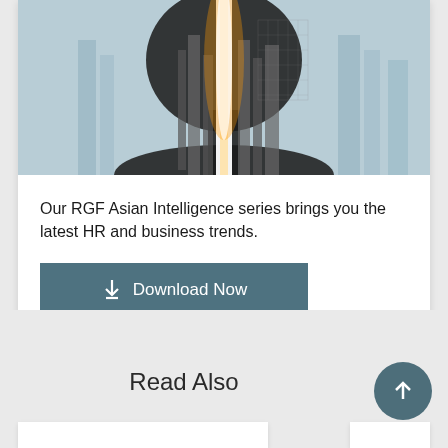[Figure (photo): Double exposure image of a human silhouette merged with a cityscape featuring tall buildings and bright light in the center, against a light blue-grey background]
Our RGF Asian Intelligence series brings you the latest HR and business trends.
Download Now
Read Also